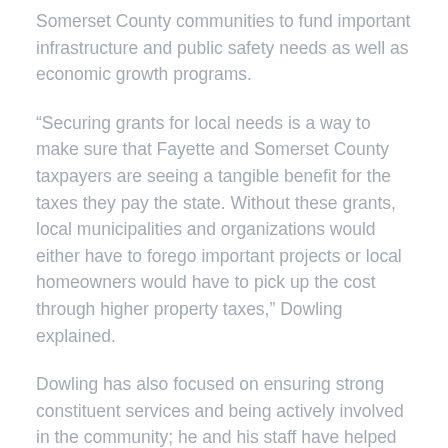Somerset County communities to fund important infrastructure and public safety needs as well as economic growth programs.
“Securing grants for local needs is a way to make sure that Fayette and Somerset County taxpayers are seeing a tangible benefit for the taxes they pay the state. Without these grants, local municipalities and organizations would either have to forego important projects or local homeowners would have to pick up the cost through higher property taxes,” Dowling explained.
Dowling has also focused on ensuring strong constituent services and being actively involved in the community; he and his staff have helped thousands of local residents address their issues with state government, and he has attended countless meetings with local residents, groups, charities and more.